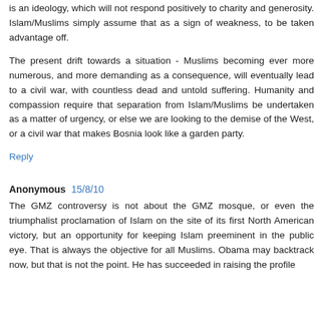is an ideology, which will not respond positively to charity and generosity. Islam/Muslims simply assume that as a sign of weakness, to be taken advantage off.
The present drift towards a situation - Muslims becoming ever more numerous, and more demanding as a consequence, will eventually lead to a civil war, with countless dead and untold suffering. Humanity and compassion require that separation from Islam/Muslims be undertaken as a matter of urgency, or else we are looking to the demise of the West, or a civil war that makes Bosnia look like a garden party.
Reply
Anonymous  15/8/10
The GMZ controversy is not about the GMZ mosque, or even the triumphalist proclamation of Islam on the site of its first North American victory, but an opportunity for keeping Islam preeminent in the public eye. That is always the objective for all Muslims. Obama may backtrack now, but that is not the point. He has succeeded in raising the profile